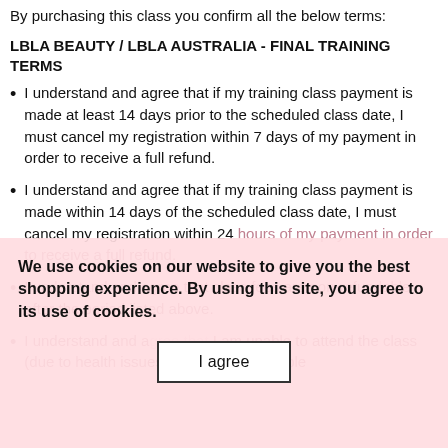By purchasing this class you confirm all the below terms:
LBLA BEAUTY / LBLA AUSTRALIA - FINAL TRAINING TERMS
I understand and agree that if my training class payment is made at least 14 days prior to the scheduled class date, I must cancel my registration within 7 days of my payment in order to receive a full refund.
I understand and agree that if my training class payment is made within 14 days of the scheduled class date, I must cancel my registration within 24 hours of my payment in order to receive a full refund.
I understand and agree that class fees are non-refundable after the period listed above.
I understand and agree that if I am unable to attend the class (due to health issues) and I am not eligible
We use cookies on our website to give you the best shopping experience. By using this site, you agree to its use of cookies.